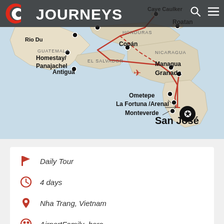[Figure (map): Central America travel route map showing locations: Caye Caulker, Roatan, Rio Dulce, GUATEMALA, HONDURAS, Homestay/Panajachel, Copán, NICARAGUA, Antigua, EL SALVADOR, Managua, Granada, Ometepe, La Fortuna/Arenal, Monteverde, San José. Route lines in red (solid and dashed) connect the locations.]
CC JOURNEYS
Daily Tour
4 days
Nha Trang, Vietnam
AirportFamily_hero